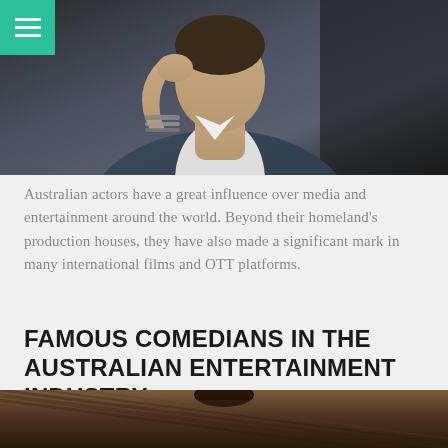[Figure (photo): Photo of a man in a dark blue suit with white shirt, hand raised to chin in thoughtful pose, with bracelets on wrist, on a dark background. Menu hamburger icon in teal/green in top-left corner.]
Australian actors have a great influence over media and entertainment around the world. Beyond their homeland's production houses, they have also made a significant mark in many international films and OTT platforms.
FAMOUS COMEDIANS IN THE AUSTRALIAN ENTERTAINMENT INDUSTRY
April 2, 2022
[Figure (photo): Partial view of a person on a wooden floor background, only the top portion visible at bottom of page.]